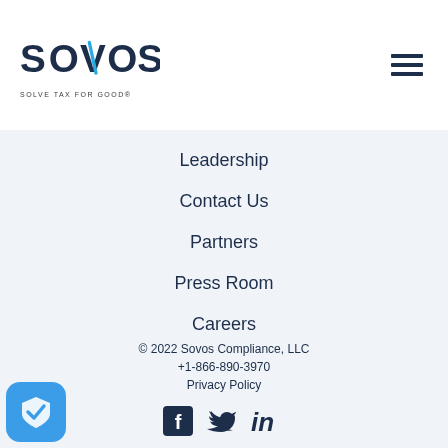[Figure (logo): Sovos logo with text 'SOLVE TAX FOR GOOD®']
[Figure (illustration): Hamburger menu icon (three horizontal lines)]
Leadership
Contact Us
Partners
Press Room
Careers
© 2022 Sovos Compliance, LLC
+1-866-890-3970
Privacy Policy
[Figure (illustration): Social media icons: Facebook, Twitter, LinkedIn]
[Figure (illustration): Blue shield with checkmark badge icon in bottom left corner]